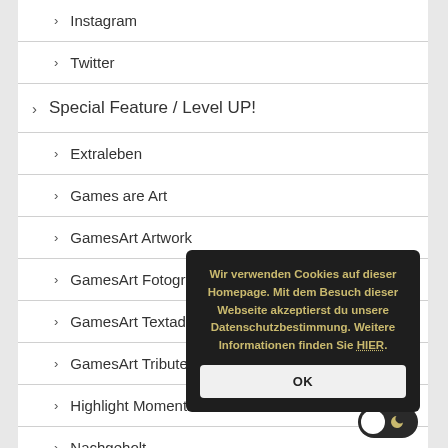> Instagram
> Twitter
> Special Feature / Level UP!
> Extraleben
> Games are Art
> GamesArt Artwork
> GamesArt Fotografie
> GamesArt Textadventure
> GamesArt Tribute To
> Highlight Moments
> Nachgeholt
Wir verwenden Cookies auf dieser Homepage. Mit dem Besuch dieser Webseite akzeptierst du unsere Datenschutzbestimmung. Weitere Informationen finden Sie HIER.
OK